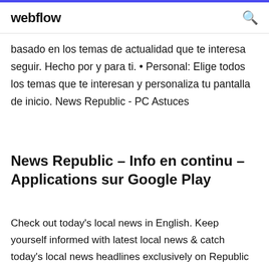webflow
basado en los temas de actualidad que te interesa seguir. Hecho por y para ti. • Personal: Elige todos los temas que te interesan y personaliza tu pantalla de inicio. News Republic - PC Astuces
News Republic – Info en continu – Applications sur Google Play
Check out today's local news in English. Keep yourself informed with latest local news & catch today's local news headlines exclusively on Republic World. Download now | Star Wars: The Old Republic The statements and opinions